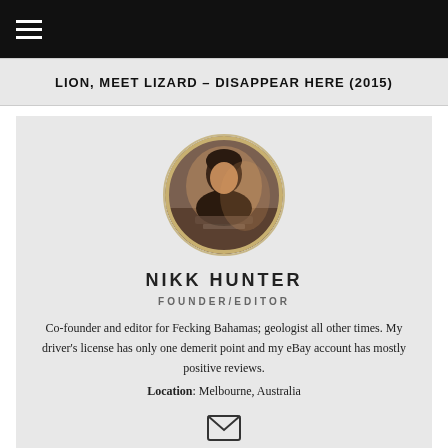LION, MEET LIZARD – DISAPPEAR HERE (2015)
[Figure (photo): Circular profile photo of Nikk Hunter, a person sitting at a table, warm toned photo]
NIKK HUNTER
FOUNDER/EDITOR
Co-founder and editor for Fecking Bahamas; geologist all other times. My driver's license has only one demerit point and my eBay account has mostly positive reviews.
Location: Melbourne, Australia
[Figure (illustration): Email/envelope icon]